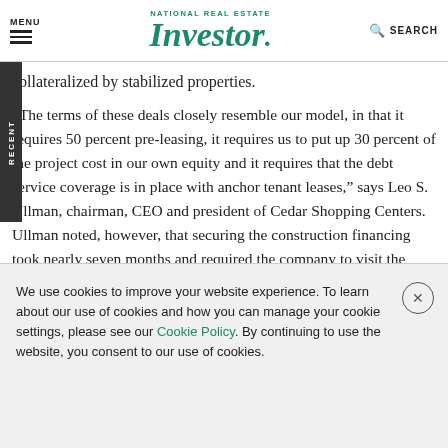MENU | National Real Estate Investor | SEARCH
collateralized by stabilized properties.
“The terms of these deals closely resemble our model, in that it requires 50 percent pre-leasing, it requires us to put up 30 percent of the project cost in our own equity and it requires that the debt service coverage is in place with anchor tenant leases,” says Leo S. Ullman, chairman, CEO and president of Cedar Shopping Centers. Ullman noted, however, that securing the construction financing took nearly seven months and required the company to visit the participating banks. But “we
We use cookies to improve your website experience. To learn about our use of cookies and how you can manage your cookie settings, please see our Cookie Policy. By continuing to use the website, you consent to our use of cookies.